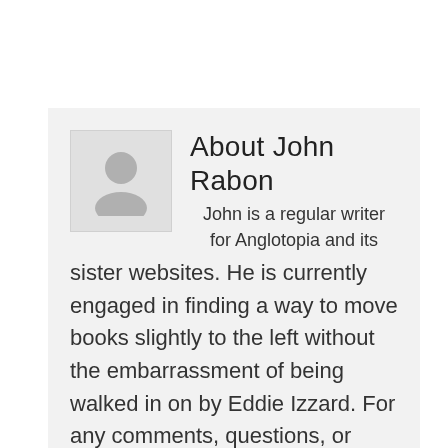[Figure (illustration): Grey placeholder avatar icon showing a person silhouette (head and shoulders)]
About John Rabon
John is a regular writer for Anglotopia and its sister websites. He is currently engaged in finding a way to move books slightly to the left without the embarrassment of being walked in on by Eddie Izzard. For any comments, questions, or complaints, please contact the Lord Mayor of London,